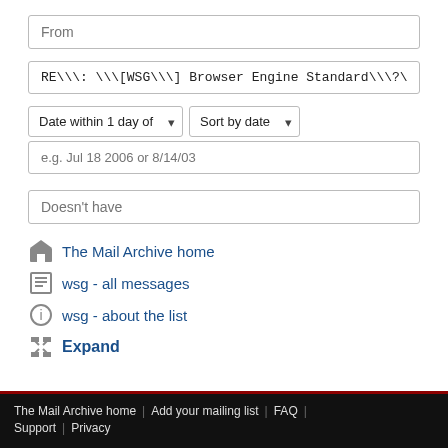From (placeholder input)
RE\\: \\[WSG\\] Browser Engine Standard\\?\\
Date within 1 day of | Sort by date | e.g. Jul 18 2006 or 8/14/03
Doesn't have
The Mail Archive home
wsg - all messages
wsg - about the list
Expand
The Mail Archive home | Add your mailing list | FAQ | Support | Privacy